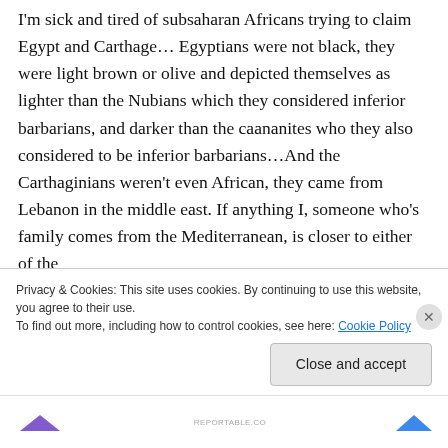I'm sick and tired of subsaharan Africans trying to claim Egypt and Carthage… Egyptians were not black, they were light brown or olive and depicted themselves as lighter than the Nubians which they considered inferior barbarians, and darker than the caananites who they also considered to be inferior barbarians…And the Carthaginians weren't even African, they came from Lebanon in the middle east. If anything I, someone who's family comes from the Mediterranean, is closer to either of the
Privacy & Cookies: This site uses cookies. By continuing to use this website, you agree to their use.
To find out more, including how to control cookies, see here: Cookie Policy
Close and accept
REPORTABLE.CO